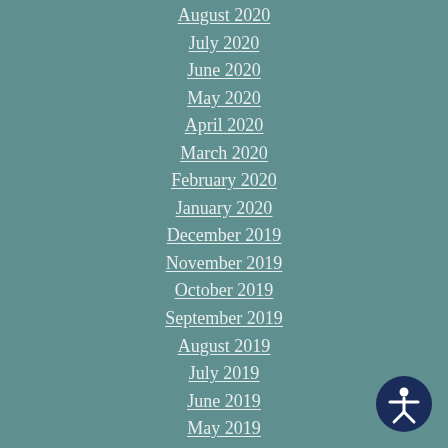August 2020
July 2020
June 2020
May 2020
April 2020
March 2020
February 2020
January 2020
December 2019
November 2019
October 2019
September 2019
August 2019
July 2019
June 2019
May 2019
April 2019
March 2019
February 2019
[Figure (illustration): Accessibility icon button - circle with person figure, navy blue background]